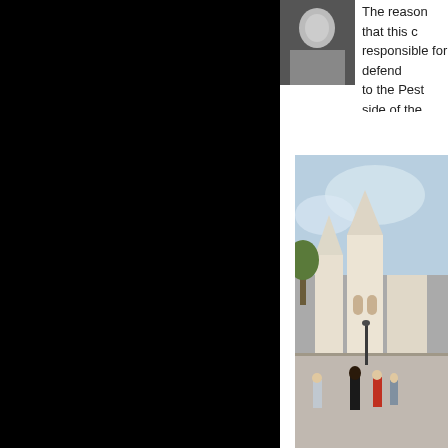[Figure (photo): Black and white portrait photo of a person, partially visible, cropped on left side of right panel]
The reason that this c... responsible for defend... to the Pest side of the...
[Figure (photo): Outdoor photograph of Fisherman's Bastion in Budapest with tourists walking in the foreground and a light blue sky above]